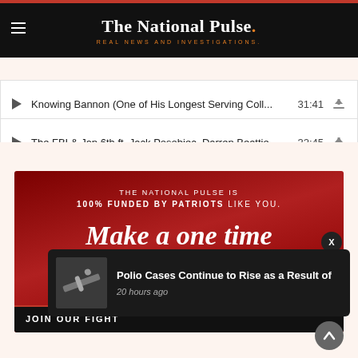The National Pulse. REAL NEWS AND INVESTIGATIONS.
Knowing Bannon (One of His Longest Serving Coll... 31:41
The FBI & Jan 6th ft. Jack Posobiec, Darren Beattie 32:45
[Figure (infographic): Red donation banner: THE NATIONAL PULSE IS 100% FUNDED BY PATRIOTS LIKE YOU. Make a one time DONATION. JOIN OUR FIGHT]
Polio Cases Continue to Rise as a Result of
20 hours ago